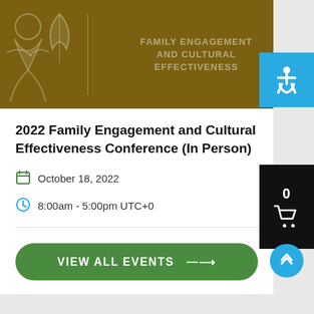[Figure (logo): Family Engagement and Cultural Effectiveness conference banner with olive/gold background and decorative icons]
2022 Family Engagement and Cultural Effectiveness Conference (In Person)
October 18, 2022
8:00am - 5:00pm UTC+0
VIEW ALL EVENTS →